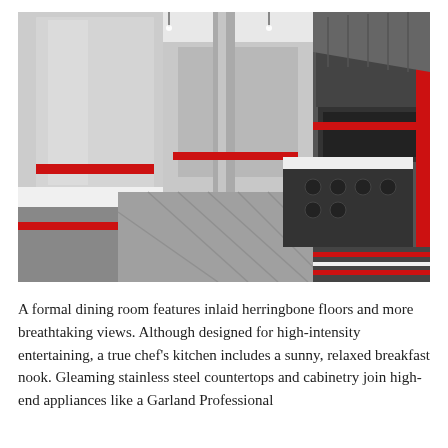[Figure (photo): Interior photo of a professional chef's kitchen with stainless steel countertops, cabinetry and appliances, red accent stripes on cabinets and columns, commercial gas range, ventilation hood, and herringbone tile floor.]
A formal dining room features inlaid herringbone floors and more breathtaking views. Although designed for high-intensity entertaining, a true chef's kitchen includes a sunny, relaxed breakfast nook. Gleaming stainless steel countertops and cabinetry join high-end appliances like a Garland Professional